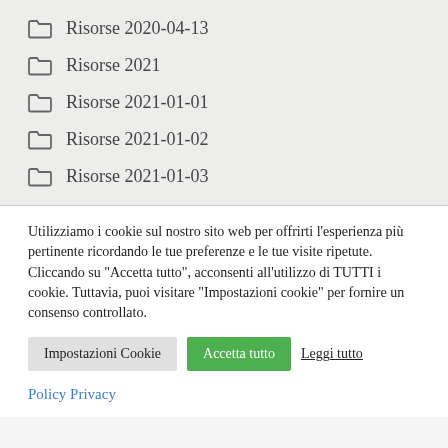Risorse 2020-04-13
Risorse 2021
Risorse 2021-01-01
Risorse 2021-01-02
Risorse 2021-01-03
Utilizziamo i cookie sul nostro sito web per offrirti l'esperienza più pertinente ricordando le tue preferenze e le tue visite ripetute. Cliccando su "Accetta tutto", acconsenti all'utilizzo di TUTTI i cookie. Tuttavia, puoi visitare "Impostazioni cookie" per fornire un consenso controllato.
Impostazioni Cookie | Accetta tutto | Leggi tutto
Policy Privacy